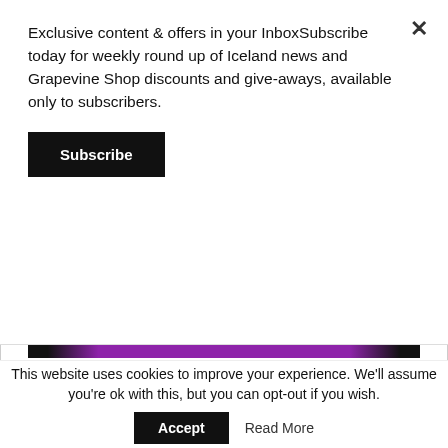Exclusive content & offers in your InboxSubscribe today for weekly round up of Iceland news and Grapevine Shop discounts and give-aways, available only to subscribers.
Subscribe
[Figure (screenshot): Purple and black banner reading 'every wednesday at 21:00']
Related
[Figure (photo): People sitting at a table with Almannavarnir logos visible in background]
This website uses cookies to improve your experience. We'll assume you're ok with this, but you can opt-out if you wish.
Accept
Read More